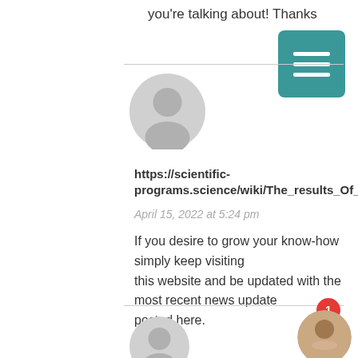you're talking about! Thanks
https://scientific-programs.science/wiki/The_results_Of_Faili
April 15, 2022 at 5:24 pm
If you desire to grow your know-how simply keep visiting this website and be updated with the most recent news update posted here.